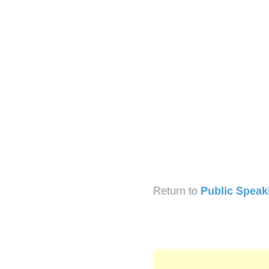[Figure (screenshot): Google Custom Search box with the text 'giving presentations' entered]
Return to Public Speaking A
[Figure (other): Yellow highlighted box at the bottom right of the page]